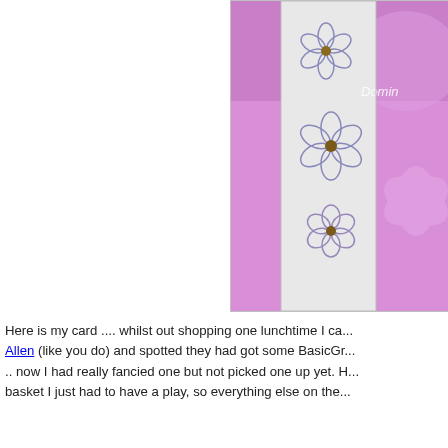[Figure (photo): Crafting card with pink background and wire/stamped flowers, partially visible, with watermark 'Domin...' text in corner]
Here is my card .... whilst out shopping one lunchtime I ca... Allen (like you do) and spotted they had got some BasicGr... .. now I had really fancied one but not picked one up yet. H... basket I just had to have a play, so everything else on the...
[Figure (photo): Crafting card with blue floral background, scalloped border, and a small tag reading 'Flowers say Hello from the Heart']